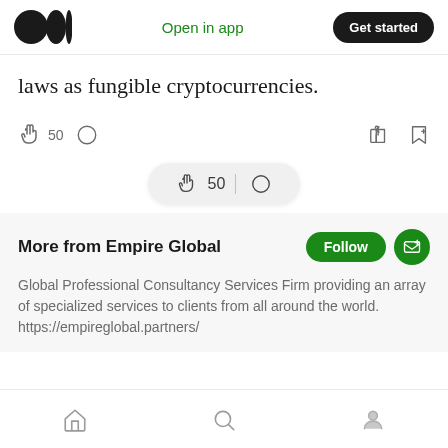Medium app header — Open in app | Get started
laws as fungible cryptocurrencies.
50 [clap icon] [comment icon] [share icon] [bookmark icon]
[clap icon] 50 | [comment icon] (floating pill)
More from Empire Global
Global Professional Consultancy Services Firm providing an array of specialized services to clients from all around the world. https://empireglobal.partners/
Bottom navigation: Home | Search | Profile